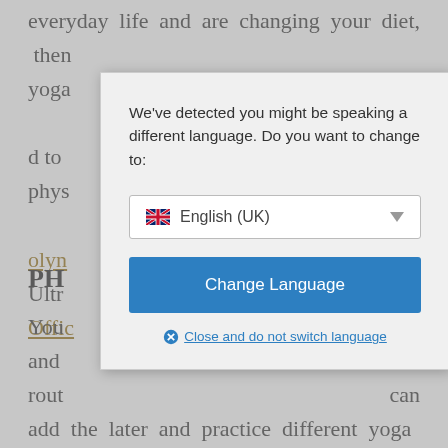everyday life and are changing your diet, then yoga … d to phys … olyn Ultr … Ultra Offic …
PH…
You … first and … the rout … can add the later and practice different yoga movements to help your fitness regime. If you do this, you will not be able to fall out of the programme and prevent your body and mind
[Figure (screenshot): Language detection modal dialog overlaid on webpage content. Modal contains message 'We've detected you might be speaking a different language. Do you want to change to:', a dropdown showing English (UK) with UK flag, a blue 'Change Language' button, and a 'Close and do not switch language' link with X icon.]